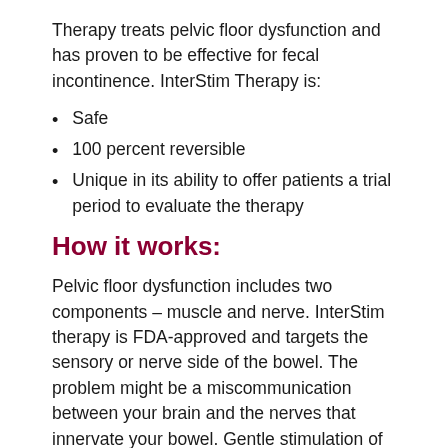Therapy treats pelvic floor dysfunction and has proven to be effective for fecal incontinence. InterStim Therapy is:
Safe
100 percent reversible
Unique in its ability to offer patients a trial period to evaluate the therapy
How it works:
Pelvic floor dysfunction includes two components – muscle and nerve. InterStim therapy is FDA-approved and targets the sensory or nerve side of the bowel. The problem might be a miscommunication between your brain and the nerves that innervate your bowel. Gentle stimulation of the